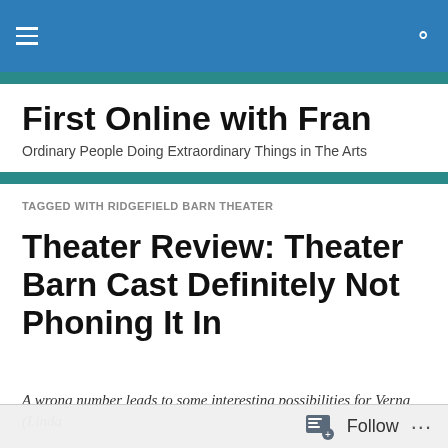First Online with Fran — navigation header
First Online with Fran
Ordinary People Doing Extraordinary Things in The Arts
TAGGED WITH RIDGEFIELD BARN THEATER
Theater Review: Theater Barn Cast Definitely Not Phoning It In
A wrong number leads to some interesting possibilities for Verna (Linda
Follow